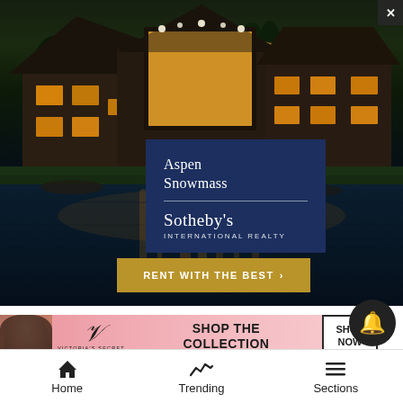[Figure (photo): Luxury log cabin home at dusk/night reflected in a lake, with warm interior lighting glowing through large windows. Aspen Snowmass Sotheby's International Realty advertisement with 'RENT WITH THE BEST' call-to-action button.]
[Figure (photo): Victoria's Secret advertisement banner with a model, VS logo, 'SHOP THE COLLECTION' text and 'SHOP NOW' button on pink background.]
Home   Trending   Sections